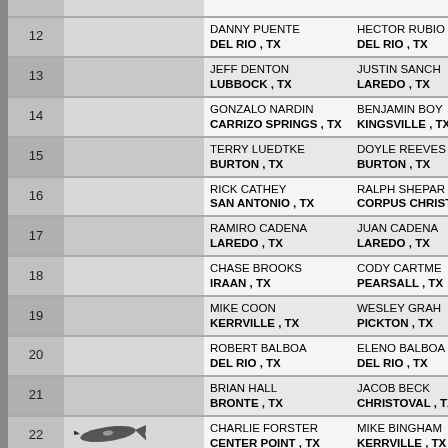| # | Image | Score | Player 1 | Player 2 |
| --- | --- | --- | --- | --- |
| 12 |  |  | DANNY PUENTE
DEL RIO , TX | HECTOR RUBIO
DEL RIO , TX |
| 13 |  |  | JEFF DENTON
LUBBOCK , TX | JUSTIN SANCH...
LAREDO , TX |
| 14 |  |  | GONZALO NARDIN
CARRIZO SPRINGS , TX | BENJAMIN BOY...
KINGSVILLE , TX |
| 15 |  |  | TERRY LUEDTKE
BURTON , TX | DOYLE REEVES
BURTON , TX |
| 16 |  |  | RICK CATHEY
SAN ANTONIO , TX | RALPH SHEPAR...
CORPUS CHRISTI... |
| 17 |  |  | RAMIRO CADENA
LAREDO , TX | JUAN CADENA
LAREDO , TX |
| 18 |  |  | CHASE BROOKS
IRAAN , TX | CODY CARTME...
PEARSALL , TX |
| 19 |  |  | MIKE COON
KERRVILLE , TX | WESLEY GRAH...
PICKTON , TX |
| 20 |  |  | ROBERT BALBOA
DEL RIO , TX | ELENO BALBOA
DEL RIO , TX |
| 21 |  |  | BRIAN HALL
BRONTE , TX | JACOB BECK
CHRISTOVAL , TX |
| 22 | [fish] |  | CHARLIE FORSTER
CENTER POINT , TX | MIKE BINGHAM
KERRVILLE , TX |
| 23 |  |  | VICTOR GARZA
LAREDO , TX | CARLOS GONZ...
LAREDO , TX |
| 24 |  |  | KEVIN UNGER
SMITHVILLE , TX | TIM GOETZ
SMITHVILLE , TX |